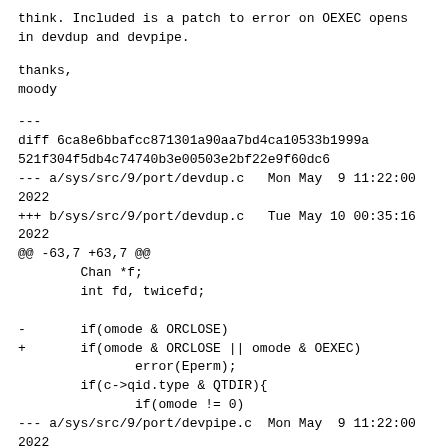think. Included is a patch to error on OEXEC opens in devdup and devpipe.
thanks,
moody
---
diff 6ca8e6bbafcc871301a90aa7bd4ca10533b1999a
521f304f5db4c74740b3e00503e2bf22e9f60dc6
--- a/sys/src/9/port/devdup.c   Mon May  9 11:22:00 2022
+++ b/sys/src/9/port/devdup.c   Tue May 10 00:35:16 2022
@@ -63,7 +63,7 @@
        Chan *f;
        int fd, twicefd;

-       if(omode & ORCLOSE)
+       if(omode & ORCLOSE || omode & OEXEC)
               error(Eperm);
        if(c->qid.type & QTDIR){
               if(omode != 0)
--- a/sys/src/9/port/devpipe.c  Mon May  9 11:22:00 2022
+++ b/sys/src/9/port/devpipe.c  Tue May 10 00:35:16 2022
@@ -228,6 +228,8 @@
               c->offset = 0;
               return c;
        }